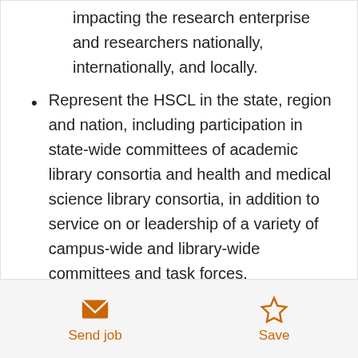impacting the research enterprise and researchers nationally, internationally, and locally.
Represent the HSCL in the state, region and nation, including participation in state-wide committees of academic library consortia and health and medical science library consortia, in addition to service on or leadership of a variety of campus-wide and library-wide committees and task forces.
Engage in research and contribute through service at the institutional and professional levels suitable to the assignment and rank.